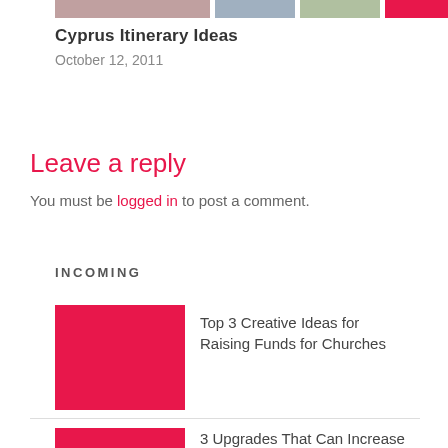[Figure (photo): Top image strip showing partial photos of people and objects]
Cyprus Itinerary Ideas
October 12, 2011
Leave a reply
You must be logged in to post a comment.
INCOMING
[Figure (photo): Red placeholder image for incoming article]
Top 3 Creative Ideas for Raising Funds for Churches
[Figure (photo): Red placeholder image for second incoming article]
3 Upgrades That Can Increase Your